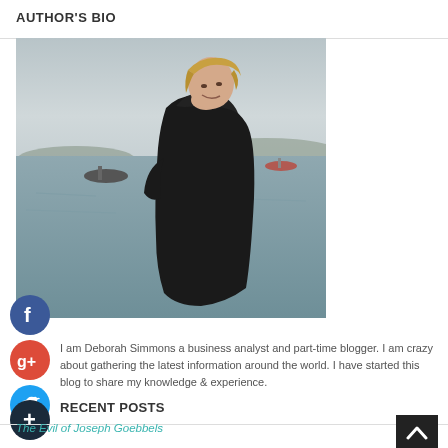AUTHOR'S BIO
[Figure (photo): Blonde woman smiling and looking back over her shoulder, standing near a coastal waterway with small boats in the background. She is wearing a black hoodie/jacket. The image is in black and white / muted tones.]
I am Deborah Simmons a business analyst and part-time blogger. I am crazy about gathering the latest information around the world. I have started this blog to share my knowledge & experience.
RECENT POSTS
The Evil of Joseph Goebbels